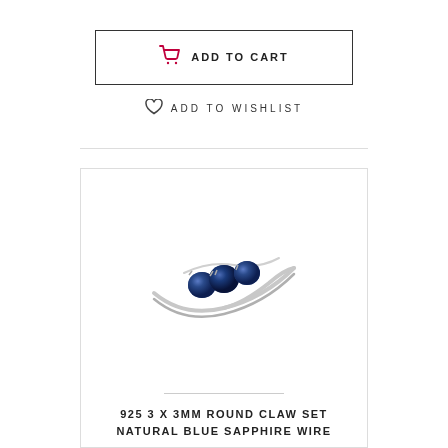ADD TO CART
ADD TO WISHLIST
[Figure (photo): A silver ring with three round blue sapphire stones set in claw settings, viewed from above at an angle.]
925 3 X 3MM ROUND CLAW SET NATURAL BLUE SAPPHIRE WIRE